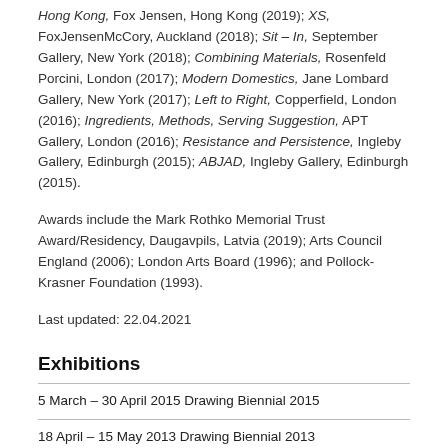Hong Kong, Fox Jensen, Hong Kong (2019); XS, FoxJensenMcCory, Auckland (2018); Sit – In, September Gallery, New York (2018); Combining Materials, Rosenfeld Porcini, London (2017); Modern Domestics, Jane Lombard Gallery, New York (2017); Left to Right, Copperfield, London (2016); Ingredients, Methods, Serving Suggestion, APT Gallery, London (2016); Resistance and Persistence, Ingleby Gallery, Edinburgh (2015); ABJAD, Ingleby Gallery, Edinburgh (2015).
Awards include the Mark Rothko Memorial Trust Award/Residency, Daugavpils, Latvia (2019); Arts Council England (2006); London Arts Board (1996); and Pollock-Krasner Foundation (1993).
Last updated: 22.04.2021
Exhibitions
5 March – 30 April 2015 Drawing Biennial 2015
18 April – 15 May 2013 Drawing Biennial 2013
7 April – 18 May 2011 Drawing Biennial 2011